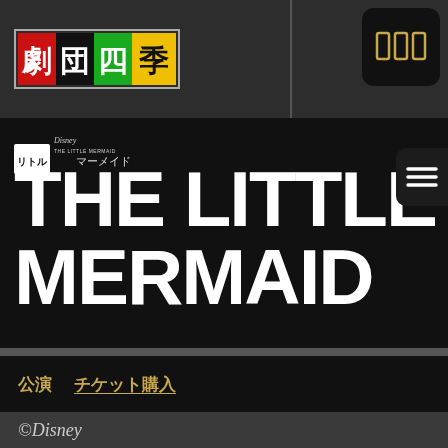[Figure (logo): Shiki (劇団四季) theater company logo in colored character boxes: red, blue, green, yellow]
[Figure (screenshot): Grid/menu icon button in dark rounded box, top right corner]
THE LITTLE MERMAID
[Figure (logo): Disney The Little Mermaid Japanese logo - リトルマーメイド]
[Figure (logo): Hamburger menu icon (three horizontal lines) on right side]
[Figure (logo): Facebook circular icon button in dark panel]
公演 チケット購入
©Disney